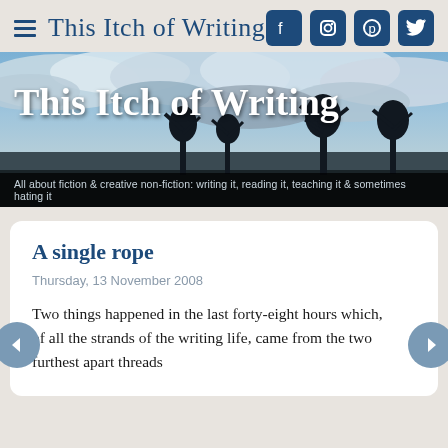This Itch of Writing
[Figure (photo): Landscape banner photo showing dramatic cloudy sky over a flat field with silhouetted bare trees. Blog title 'This Itch of Writing' overlaid in white. Tagline below: 'All about fiction & creative non-fiction: writing it, reading it, teaching it & sometimes hating it']
A single rope
Thursday, 13 November 2008
Two things happened in the last forty-eight hours which, of all the strands of the writing life, came from the two furthest apart threads